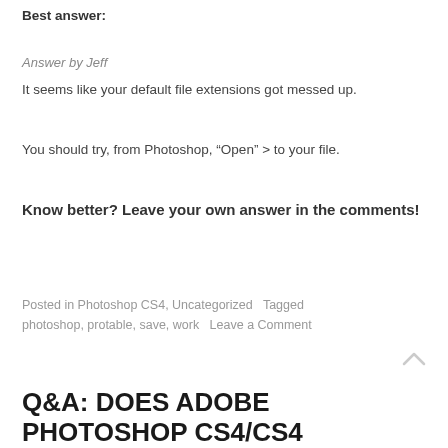Best answer:
Answer by Jeff
It seems like your default file extensions got messed up.
You should try, from Photoshop, “Open” > to your file.
Know better? Leave your own answer in the comments!
Posted in Photoshop CS4, Uncategorized   Tagged photoshop, protable, save, work   Leave a Comment
Q&A: DOES ADOBE PHOTOSHOP CS4/CS4